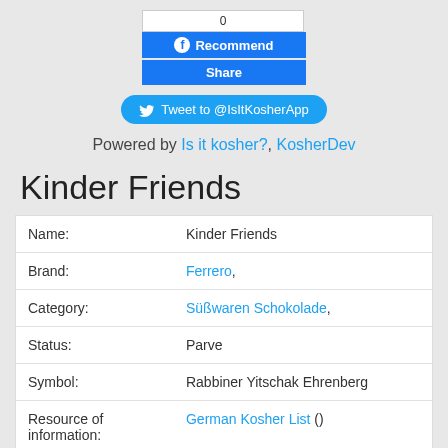[Figure (screenshot): Facebook Recommend button showing count 0 and Share button]
[Figure (screenshot): Tweet to @IsItKosherApp button]
Powered by Is it kosher?, KosherDev
Kinder Friends
| Name: | Kinder Friends |
| Brand: | Ferrero, |
| Category: | Süßwaren Schokolade, |
| Status: | Parve |
| Symbol: | Rabbiner Yitschak Ehrenberg |
| Resource of information: | German Kosher List () |